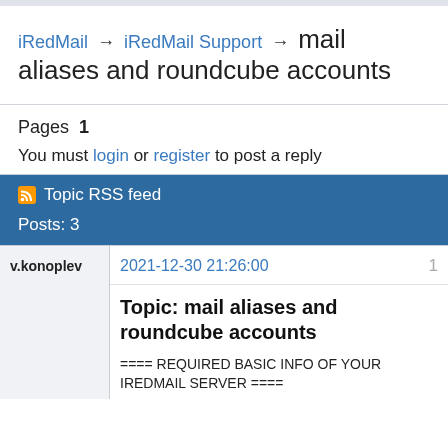iRedMail → iRedMail Support → mail aliases and roundcube accounts
Pages 1
You must login or register to post a reply
Topic RSS feed
Posts: 3
v.konoplev  2021-12-30 21:26:00  1
Topic: mail aliases and roundcube accounts
==== REQUIRED BASIC INFO OF YOUR IREDMAIL SERVER ====